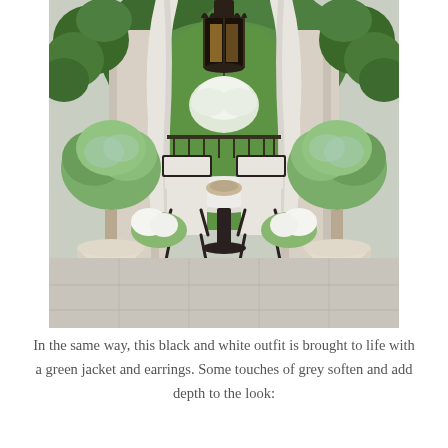[Figure (photo): Elegant outdoor terrace or courtyard with two large classical white urn planters bearing topiary trees, flanking stone columns draped with ivy and white curtains. In the center background is an arched opening revealing lush green trees. A wrought-iron chandelier lantern hangs from above. A wrought-iron table and chairs with white cushions are arranged on stone tile flooring. White flowering plants cascade near the base of the columns.]
In the same way, this black and white outfit is brought to life with a green jacket and earrings. Some touches of grey soften and add depth to the look: